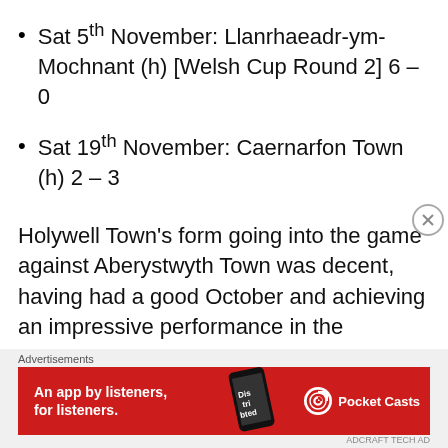Sat 5th November: Llanrhaeadr-ym-Mochnant (h) [Welsh Cup Round 2] 6 – 0
Sat 19th November: Caernarfon Town (h) 2 – 3
Holywell Town's form going into the game against Aberystwyth Town was decent, having had a good October and achieving an impressive performance in the previous round of the Welsh
[Figure (other): Advertisement banner for Pocket Casts app: red background with text 'An app by listeners, for listeners.' and Pocket Casts logo with phone graphic showing 'Distributed' text]